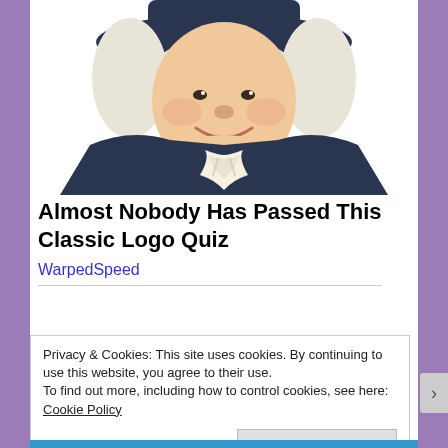[Figure (illustration): Illustration of a Quaker man (Quaker Oats mascot) wearing a dark blue colonial-era coat and wide-brimmed hat with white curly hair, smiling, with a white cravat at the neck. Shown from the chest up on a white background.]
Almost Nobody Has Passed This Classic Logo Quiz
WarpedSpeed
Privacy & Cookies: This site uses cookies. By continuing to use this website, you agree to their use.
To find out more, including how to control cookies, see here: Cookie Policy
Close and accept